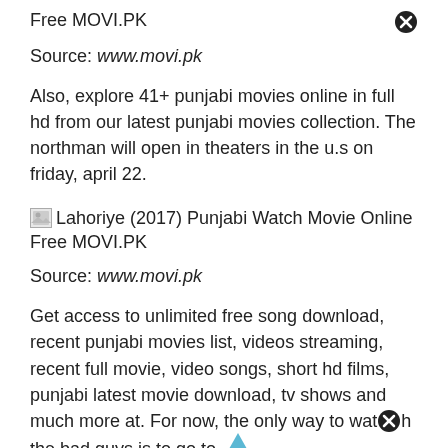Free MOVI.PK
Source: www.movi.pk
Also, explore 41+ punjabi movies online in full hd from our latest punjabi movies collection. The northman will open in theaters in the u.s on friday, april 22.
[Figure (other): Small broken image icon placeholder]
Lahoriye (2017) Punjabi Watch Movie Online Free MOVI.PK
Source: www.movi.pk
Get access to unlimited free song download, recent punjabi movies list, videos streaming, recent full movie, video songs, short hd films, punjabi latest movie download, tv shows and much more at. For now, the only way to watch the bad guys is to go to a movie theater.